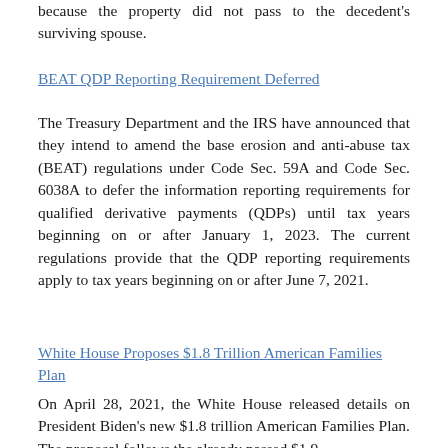because the property did not pass to the decedent's surviving spouse.
BEAT QDP Reporting Requirement Deferred
The Treasury Department and the IRS have announced that they intend to amend the base erosion and anti-abuse tax (BEAT) regulations under Code Sec. 59A and Code Sec. 6038A to defer the information reporting requirements for qualified derivative payments (QDPs) until tax years beginning on or after January 1, 2023. The current regulations provide that the QDP reporting requirements apply to tax years beginning on or after June 7, 2021.
White House Proposes $1.8 Trillion American Families Plan
On April 28, 2021, the White House released details on President Biden’s new $1.8 trillion American Families Plan. The proposal follows the already passed $1.9